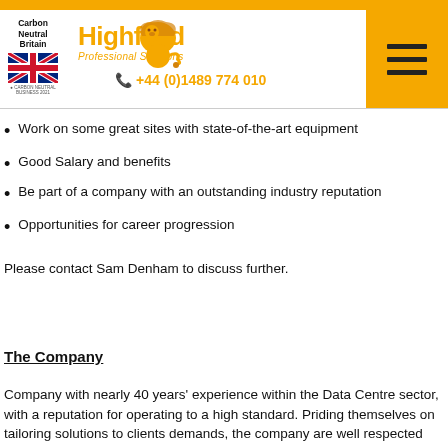Carbon Neutral Britain | Highfield Professional Solutions | +44 (0)1489 774 010
Work on some great sites with state-of-the-art equipment
Good Salary and benefits
Be part of a company with an outstanding industry reputation
Opportunities for career progression
Please contact Sam Denham to discuss further.
The Company
Company with nearly 40 years' experience within the Data Centre sector, with a reputation for operating to a high standard. Priding themselves on tailoring solutions to clients demands, the company are well respected